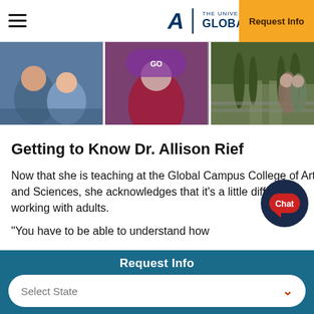THE UNIVERSITY OF ARIZONA GLOBAL CAMPUS | Request Info
[Figure (photo): Three side-by-side photos: children outdoors, a person in a purple costume holding a stuffed animal, and two people walking on a wet road.]
Getting to Know Dr. Allison Rief
Now that she is teaching at the Global Campus College of Arts and Sciences, she acknowledges that it's a little different working with adults.
“You have to be able to understand how
Request Info
Select State